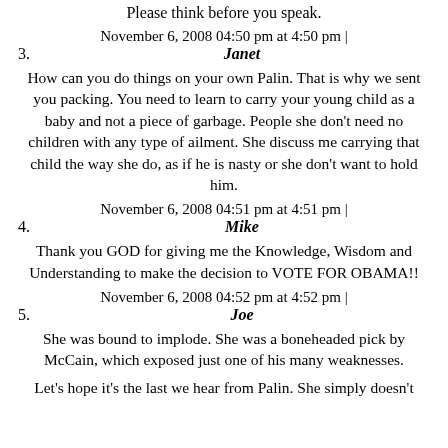Please think before you speak.
November 6, 2008 04:50 pm at 4:50 pm |
3. Janet
How can you do things on your own Palin. That is why we sent you packing. You need to learn to carry your young child as a baby and not a piece of garbage. People she don't need no children with any type of ailment. She discuss me carrying that child the way she do, as if he is nasty or she don't want to hold him.
November 6, 2008 04:51 pm at 4:51 pm |
4. Mike
Thank you GOD for giving me the Knowledge, Wisdom and Understanding to make the decision to VOTE FOR OBAMA!!
November 6, 2008 04:52 pm at 4:52 pm |
5. Joe
She was bound to implode. She was a boneheaded pick by McCain, which exposed just one of his many weaknesses.
Let's hope it's the last we hear from Palin. She simply doesn't